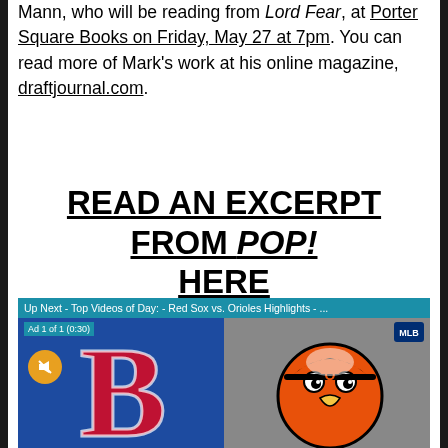Mann, who will be reading from Lord Fear, at Porter Square Books on Friday, May 27 at 7pm. You can read more of Mark's work at his online magazine, draftjournal.com.
READ AN EXCERPT FROM POP! HERE
[Figure (screenshot): Video player screenshot showing 'Up Next - Top Videos of Day: - Red Sox vs. Orioles Highlights - ...' with Ad 1 of 1 (0:30) label, MLB logo, mute button, Red Sox B logo on blue background on left, Orioles cartoon bird logo on grey background on right.]